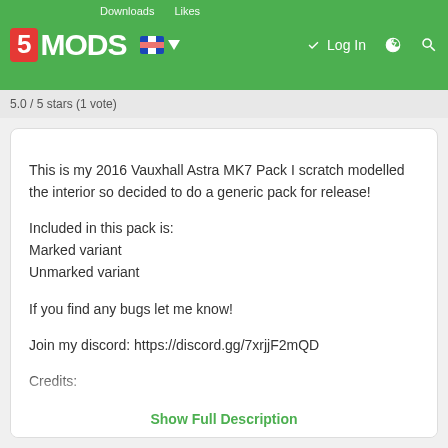5MODS | Downloads | Likes | Log In
5.0 / 5 stars (1 vote)
This is my 2016 Vauxhall Astra MK7 Pack I scratch modelled the interior so decided to do a generic pack for release!

Included in this pack is:
Marked variant
Unmarked variant

If you find any bugs let me know!

Join my discord: https://discord.gg/7xrjjF2mQD

Credits:
Credits:
Squir Astra Model Purchase - Bleep
Lowering/Fixes: SGM
Model/Textures: ObsidianGaming/SGM
Show Full Description